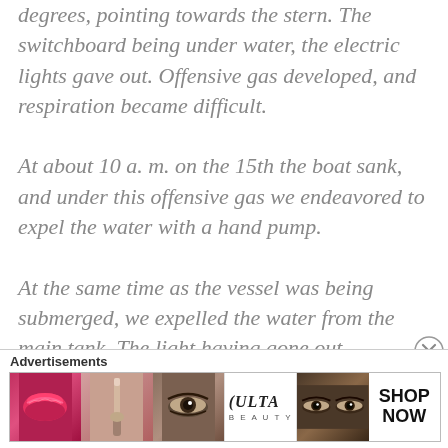degrees, pointing towards the stern. The switchboard being under water, the electric lights gave out. Offensive gas developed, and respiration became difficult.
At about 10 a. m. on the 15th the boat sank, and under this offensive gas we endeavored to expel the water with a hand pump.
At the same time as the vessel was being submerged, we expelled the water from the main tank. The light having gone out
[Figure (other): Advertisement banner for ULTA Beauty showing close-up beauty images: lips with red lipstick, makeup brush, eye with dramatic makeup, ULTA Beauty logo, eyes with dramatic makeup, and SHOP NOW call to action.]